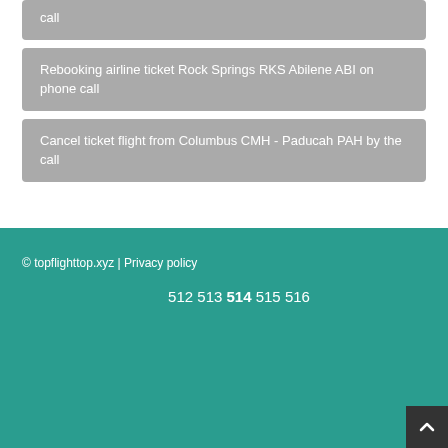call
Rebooking airline ticket Rock Springs RKS Abilene ABI on phone call
Cancel ticket flight from Columbus CMH - Paducah PAH by the call
© topflighttop.xyz | Privacy policy
512 513 514 515 516